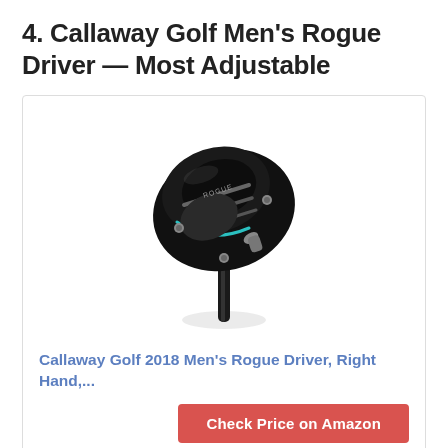4. Callaway Golf Men's Rogue Driver — Most Adjustable
[Figure (photo): Callaway Golf Rogue Driver club head, black with silver/teal accents, shown from above at an angle with the shaft visible below.]
Callaway Golf 2018 Men's Rogue Driver, Right Hand,...
Check Price on Amazon
#Affiliate links.Last update on 2022-08-24 at 02:03